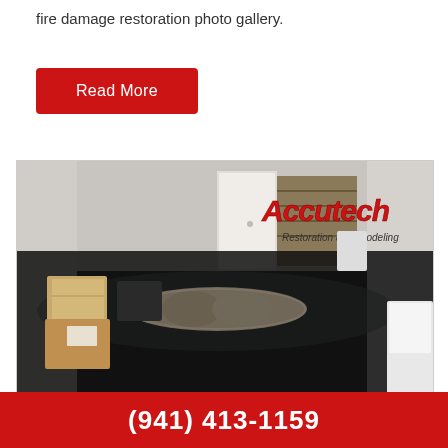fire damage restoration photo gallery.
[Figure (other): Red 'Read More' button]
[Figure (photo): Flooded interior room with water damage, rolled carpets, boxes, and Accutech Restoration & Remodeling logo overlay]
(941) 413-1159